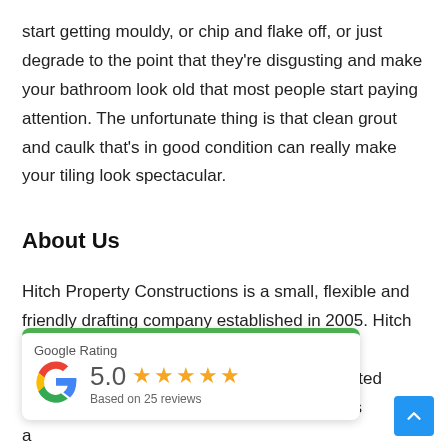start getting mouldy, or chip and flake off, or just degrade to the point that they're disgusting and make your bathroom look old that most people start paying attention. The unfortunate thing is that clean grout and caulk that's in good condition can really make your tiling look spectacular.
About Us
Hitch Property Constructions is a small, flexible and friendly drafting company established in 2005. Hitch [partially obscured] is to design a [partially obscured] lish home connected [partially obscured] nt, which provides a flexible and comfortable living area.
[Figure (other): Google Rating widget showing 5.0 stars based on 25 reviews, with Google 'G' logo, green top border, and white card background with shadow]